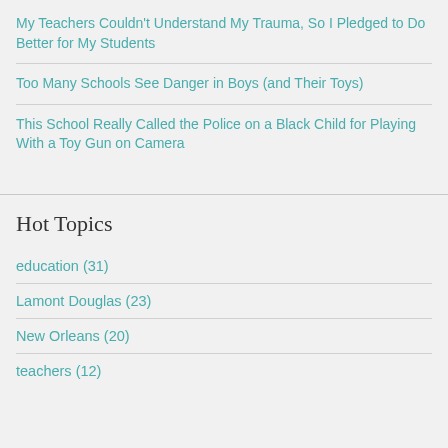My Teachers Couldn't Understand My Trauma, So I Pledged to Do Better for My Students
Too Many Schools See Danger in Boys (and Their Toys)
This School Really Called the Police on a Black Child for Playing With a Toy Gun on Camera
Hot Topics
education (31)
Lamont Douglas (23)
New Orleans (20)
teachers (12)